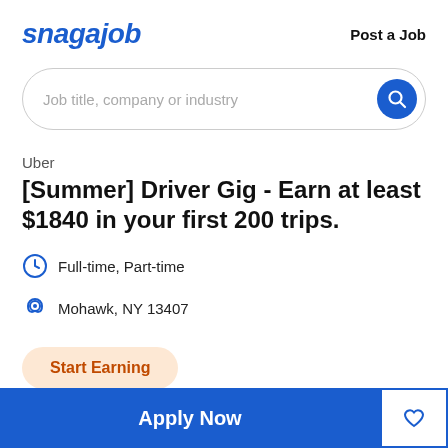snagajob  Post a Job
[Figure (other): Search bar with placeholder text 'Job title, company or industry' and a blue circular search button with magnifying glass icon]
Uber
[Summer] Driver Gig - Earn at least $1840 in your first 200 trips.
Full-time, Part-time
Mohawk, NY 13407
Start Earning
Apply Now